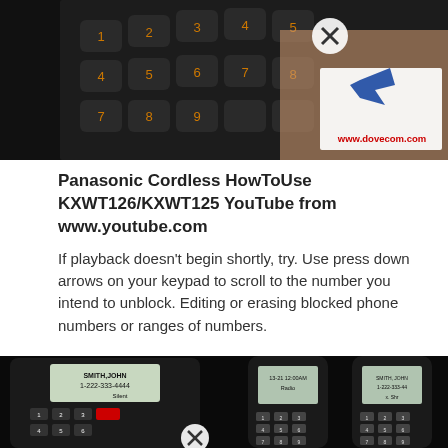[Figure (screenshot): Screenshot thumbnail of a Panasonic cordless phone keypad being held by a hand. A circular X (close) icon is visible. In the upper right corner is the dovecom.com logo with a bird graphic and the URL www.dovecom.com in red text.]
Panasonic Cordless HowToUse KXWT126/KXWT125 YouTube from www.youtube.com
If playback doesn't begin shortly, try. Use press down arrows on your keypad to scroll to the number you intend to unblock. Editing or erasing blocked phone numbers or ranges of numbers.
[Figure (photo): Photo of three Panasonic cordless phones on a dark background. The leftmost is a corded base unit showing SMITH,JOHN / 1-222-333-4444 / Silent on display. The middle and right are handsets with displays showing contact/call info. A circular X icon appears at the bottom center.]